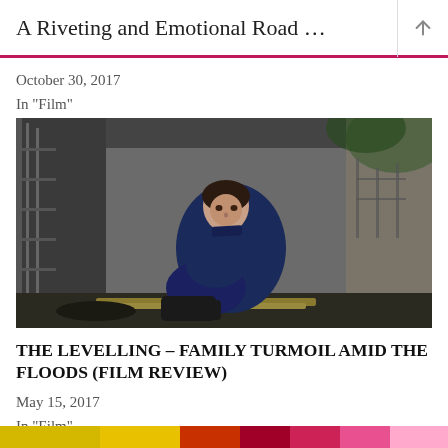A Riveting and Emotional Road …
October 30, 2017
In "Film"
[Figure (photo): A young woman in a blue jacket and dark trousers sits huddled against a concrete farm wall, looking directly at the camera with a serious expression. The setting appears to be a rural farmyard.]
THE LEVELLING – FAMILY TURMOIL AMID THE FLOODS (FILM REVIEW)
May 15, 2017
In "Film"
[Figure (photo): A colorful strip at the bottom of the page with yellow, red, pink and other colors.]